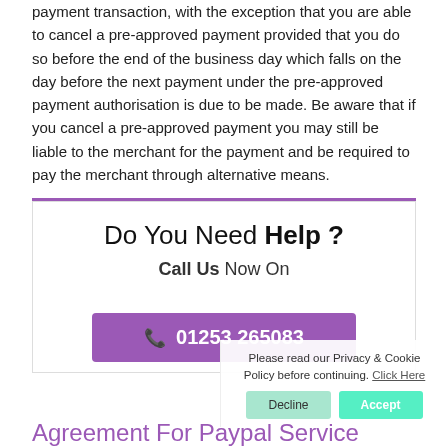payment transaction, with the exception that you are able to cancel a pre-approved payment provided that you do so before the end of the business day which falls on the day before the next payment under the pre-approved payment authorisation is due to be made. Be aware that if you cancel a pre-approved payment you may still be liable to the merchant for the payment and be required to pay the merchant through alternative means.
[Figure (infographic): Help box with 'Do You Need Help?' heading, 'Call Us Now On' subheading, and a purple phone button showing 01253 265083]
Please read our Privacy & Cookie Policy before continuing. Click Here
Decline  Accept
Agreement For Paypal Service